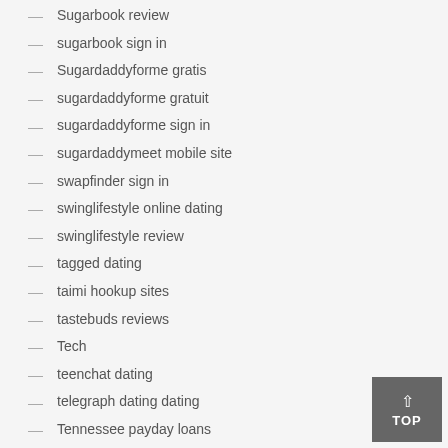Sugarbook review
sugarbook sign in
Sugardaddyforme gratis
sugardaddyforme gratuit
sugardaddyforme sign in
sugardaddymeet mobile site
swapfinder sign in
swinglifestyle online dating
swinglifestyle review
tagged dating
taimi hookup sites
tastebuds reviews
Tech
teenchat dating
telegraph dating dating
Tennessee payday loans